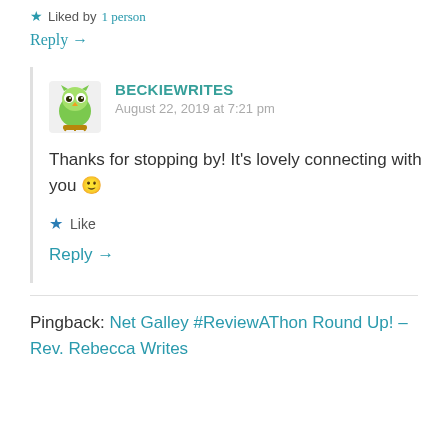★ Liked by 1 person
Reply →
BECKIEWRITES
August 22, 2019 at 7:21 pm
Thanks for stopping by! It's lovely connecting with you 🙂
★ Like
Reply →
Pingback: Net Galley #ReviewAThon Round Up! – Rev. Rebecca Writes